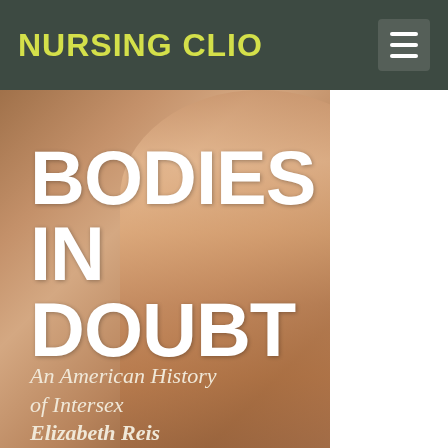NURSING CLIO
[Figure (photo): Book cover of 'Bodies in Doubt: An American History of Intersex' by Elizabeth Reis. Shows a close-up of a human back/torso with warm brown tones. Large white bold text reads 'BODIES IN DOUBT'. Italic subtitle reads 'An American History of Intersex'. Author name 'Elizabeth Reis' appears at bottom.]
BODIES IN DOUBT
An American History of Intersex
Elizabeth Reis